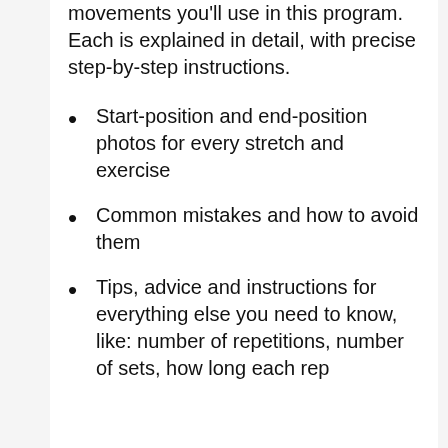movements you'll use in this program. Each is explained in detail, with precise step-by-step instructions.
Start-position and end-position photos for every stretch and exercise
Common mistakes and how to avoid them
Tips, advice and instructions for everything else you need to know, like: number of repetitions, number of sets, how long each rep